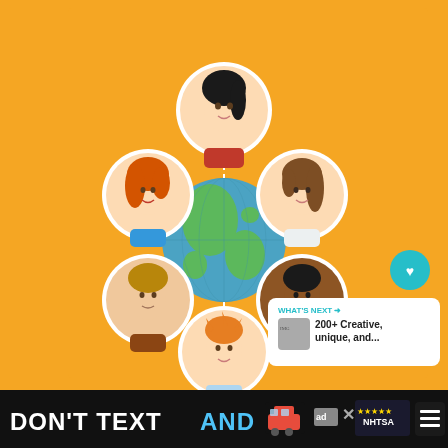[Figure (illustration): Yellow background infographic showing a global network of diverse people. A central globe (blue-green) is connected by dotted lines to six circular portrait illustrations surrounding it: a woman with black hair (top center), a woman with red hair (left), a woman with brown hair (right), a man with light brown hair (lower left), a dark-skinned man in blue jacket (lower right), and a man with orange/red hair (bottom center). UI overlays include a teal heart icon button, a '3' like count, a teal share icon, and a 'WHAT'S NEXT' card showing '200+ Creative, unique, and...' text.]
[Figure (infographic): Black advertisement banner at the bottom reading 'DON'T TEXT AND' with a red car emoji icon, followed by an 'ad' badge, 'NHTSA' logo with star ratings, a close X button, and a streaming app logo (white triple bars on dark background).]